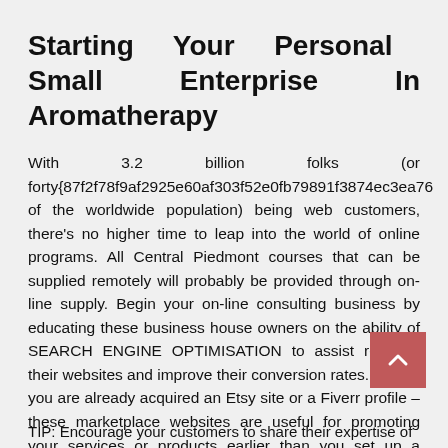Starting Your Personal Small Enterprise In Aromatherapy
With 3.2 billion folks (or forty{87f2f78f9af2925e60af303f52e0fb79891f3874ec3ea76 of the worldwide population) being web customers, there's no higher time to leap into the world of online programs. All Central Piedmont courses that can be supplied remotely will probably be provided through on-line supply. Begin your on-line consulting business by educating these business house owners on the ability of SEARCH ENGINE OPTIMISATION to assist remodel their websites and improve their conversion rates. Maybe you are already acquired an Etsy site or a Fiverr profile – these marketplace websites are useful for promoting your services or products earlier than you set up a website of your personal.
TIP: Encourage your customers to share their expertise of